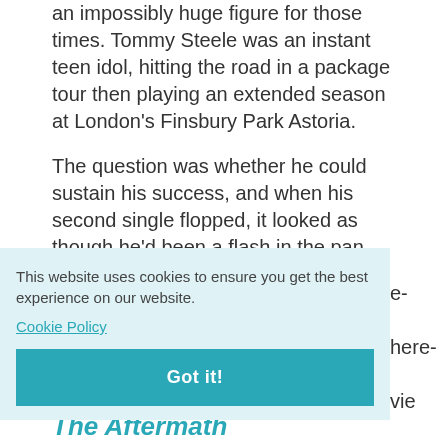an impossibly huge figure for those times. Tommy Steele was an instant teen idol, hitting the road in a package tour then playing an extended season at London's Finsbury Park Astoria.
The question was whether he could sustain his success, and when his second single flopped, it looked as though he'd been a flash in the pan. But after he bounced back with a number one (Singing The Blues), there was a sigh of re- here- vie t ory - .
[Figure (other): Cookie consent banner overlay with text 'This website uses cookies to ensure you get the best experience on our website.' with a Cookie Policy link and a teal 'Got it!' button.]
The Aftermath